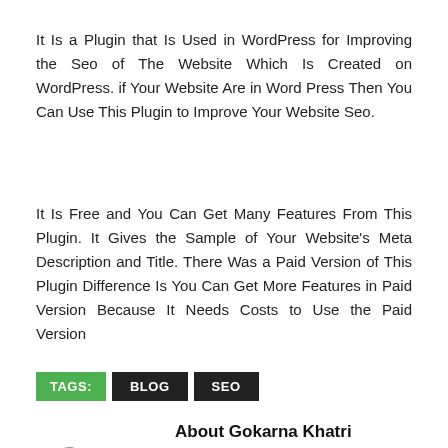It Is a Plugin that Is Used in WordPress for Improving the Seo of The Website Which Is Created on WordPress. if Your Website Are in Word Press Then You Can Use This Plugin to Improve Your Website Seo.
It Is Free and You Can Get Many Features From This Plugin. It Gives the Sample of Your Website's Meta Description and Title. There Was a Paid Version of This Plugin Difference Is You Can Get More Features in Paid Version Because It Needs Costs to Use the Paid Version
TAGS: BLOG SEO
About Gokarna Khatri
[Figure (logo): GK logo with large black G and green K letters]